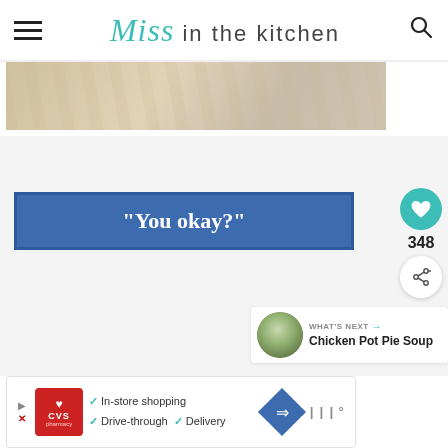Miss in the kitchen
[Figure (photo): Close-up photo of a light wood surface with food item partially visible at bottom edge]
"You okay?"
[Figure (infographic): Sidebar with heart icon (348 saves), share button]
[Figure (infographic): WHAT'S NEXT panel with Chicken Pot Pie Soup thumbnail]
[Figure (infographic): CVS Pharmacy advertisement - In-store shopping, Drive-through, Delivery]